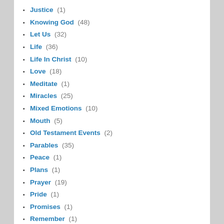Justice (1)
Knowing God (48)
Let Us (32)
Life (36)
Life In Christ (10)
Love (18)
Meditate (1)
Miracles (25)
Mixed Emotions (10)
Mouth (5)
Old Testament Events (2)
Parables (35)
Peace (1)
Plans (1)
Prayer (19)
Pride (1)
Promises (1)
Remember (1)
Rhythms (38)
Servanthood (2)
So That (28)